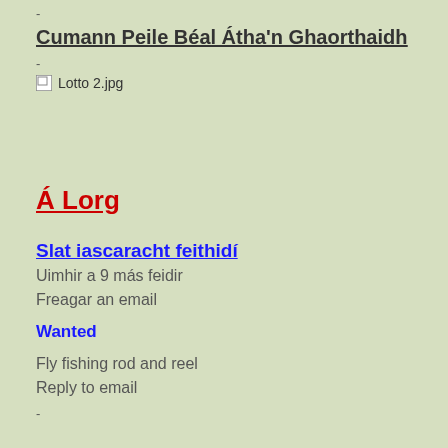-
Cumann Peile Béal Átha'n Ghaorthaidh
-
[Figure (photo): Broken image placeholder labeled 'Lotto 2.jpg']
Á Lorg
Slat iascaracht feithidí
Uimhir a 9 más feidir
Freagar an email
Wanted
Fly fishing rod and reel
Reply to email
-